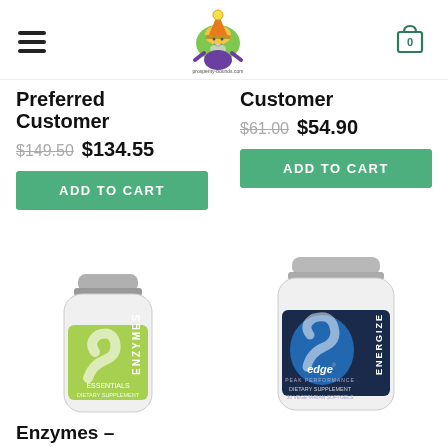[Figure (logo): Website header with hamburger menu, colorful wizard/gnome logo for prosperity-bounds.com, and shopping cart icon with 0 count]
Preferred Customer
$149.50 $134.55
ADD TO CART
Customer
$61.00 $54.90
ADD TO CART
[Figure (photo): White supplement bottle with green label reading ENZYMES, Essentials, dietary supplement]
[Figure (photo): White supplement bottle with blue and dark label reading edge ENERGIZE, dietary supplement, 30 vegetarian softgels]
Enzymes –